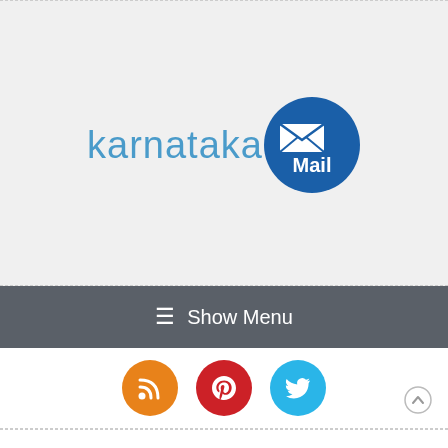[Figure (logo): Karnataka Mail logo — 'karnataka' in light blue sans-serif text followed by a dark blue circular badge with 'Mail' in white text and an envelope icon above]
≡ Show Menu
[Figure (infographic): Three social media icon circles: RSS (orange), Pinterest (red), Twitter (blue)]
Automobile Brake Disc Specialist – Nan